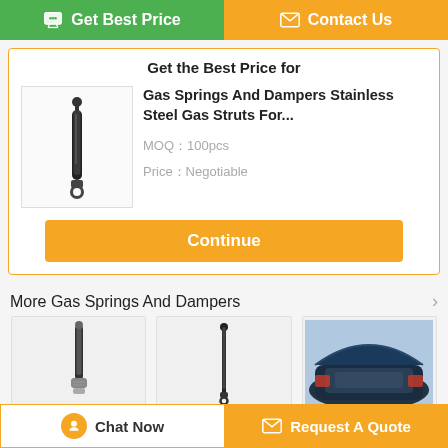Get Best Price
Contact Us
Get the Best Price for
[Figure (photo): Gas spring / strut product image - a long black cylindrical strut with ball joint ends]
Gas Springs And Dampers Stainless Steel Gas Struts For...
MOQ：100pcs
Price：Negotiable
Continue
More  Gas Springs And Dampers
[Figure (photo): Stainless steel gas spring with fittings - small cylinder with connector]
Stainless Steel Gas Springs An...
[Figure (photo): Ford window gas spring - a long black rod/strut]
Ford Window Gas Springs And...
[Figure (photo): Automotive gas spring - open car trunk lid showing gas strut in use]
Automotive Gas Springs,gas....
Chat Now
Request A Quote